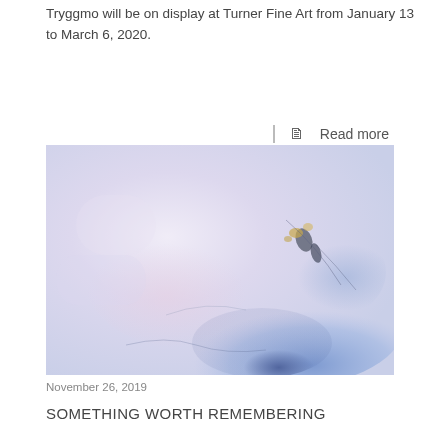Tryggmo will be on display at Turner Fine Art from January 13 to March 6, 2020.
Read more
[Figure (photo): Abstract painting featuring soft lavender and white tones on the left, transitioning to deeper blue and dark brushstroke detail on the lower right, with small gold/yellow accents near the upper right center.]
November 26, 2019
SOMETHING WORTH REMEMBERING